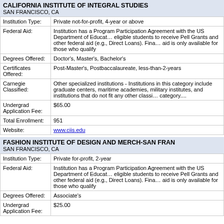CALIFORNIA INSTITUTE OF INTEGRAL STUDIES
SAN FRANCISCO, CA
| Field | Value |
| --- | --- |
| Institution Type: | Private not-for-profit, 4-year or above |
| Federal Aid: | Institution has a Program Participation Agreement with the US Department of Education, allowing eligible students to receive Pell Grants and other federal aid (e.g., Direct Loans). Financial aid is only available for those who qualify |
| Degrees Offered: | Doctor's, Master's, Bachelor's |
| Certificates Offered: | Post-Master's, Postbaccalaureate, less-than-2-years |
| Carnegie Classified: | Other specialized institutions - Institutions in this category include graduate centers, maritime academies, military institutes, and institutions that do not fit any other classification category.... |
| Undergrad Application Fee: | $65.00 |
| Total Enrollment: | 951 |
| Website: | www.ciis.edu |
FASHION INSTITUTE OF DESIGN AND MERCH-SAN FRAN
SAN FRANCISCO, CA
| Field | Value |
| --- | --- |
| Institution Type: | Private for-profit, 2-year |
| Federal Aid: | Institution has a Program Participation Agreement with the US Department of Education, allowing eligible students to receive Pell Grants and other federal aid (e.g., Direct Loans). Financial aid is only available for those who qualify |
| Degrees Offered: | Associate's |
| Undergrad Application Fee: | $25.00 |